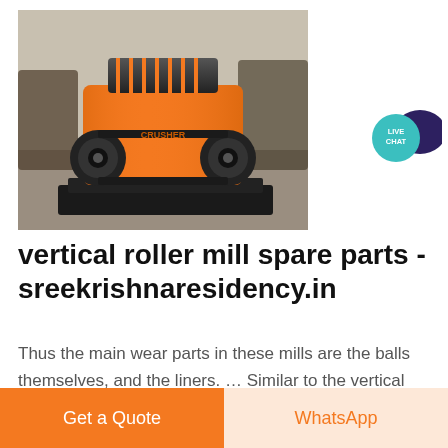[Figure (photo): Orange industrial hammer mill / roller crusher machine sitting on black metal skids in a warehouse/factory setting. The machine is bright orange with two large black wheels/pulleys on the sides and a dark hopper/feed area on top.]
[Figure (infographic): Live Chat button icon — teal circular chat bubble with 'LIVE CHAT' text and a dark navy speech bubble behind it]
vertical roller mill spare parts - sreekrishnaresidency.in
Thus the main wear parts in these mills are the balls themselves, and the liners. … Similar to the vertical roller mill, it also uses tires to crush coal. There are two types, a deep bowl mill, and a shallow bowl mill. …
Get a Quote
WhatsApp